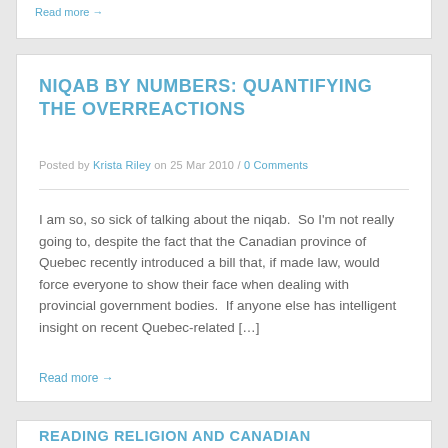Read more →
NIQAB BY NUMBERS: QUANTIFYING THE OVERREACTIONS
Posted by Krista Riley on 25 Mar 2010 / 0 Comments
I am so, so sick of talking about the niqab.  So I'm not really going to, despite the fact that the Canadian province of Quebec recently introduced a bill that, if made law, would force everyone to show their face when dealing with provincial government bodies.  If anyone else has intelligent insight on recent Quebec-related […]
Read more →
READING RELIGION AND CANADIAN